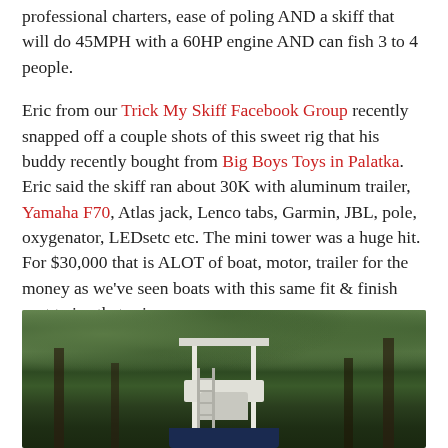professional charters, ease of poling AND a skiff that will do 45MPH with a 60HP engine AND can fish 3 to 4 people.
Eric from our Trick My Skiff Facebook Group recently snapped off a couple shots of this sweet rig that his buddy recently bought from Big Boys Toys in Palatka. Eric said the skiff ran about 30K with aluminum trailer, Yamaha F70, Atlas jack, Lenco tabs, Garmin, JBL, pole, oxygenator, LEDsetc etc. The mini tower was a huge hit. For $30,000 that is ALOT of boat, motor, trailer for the money as we've seen boats with this same fit & finish cost twice that price.
[Figure (photo): Outdoor photo of a boat with a mini tower/t-top structure visible above lush green trees and foliage. The boat appears to be parked or moored near dense vegetation.]